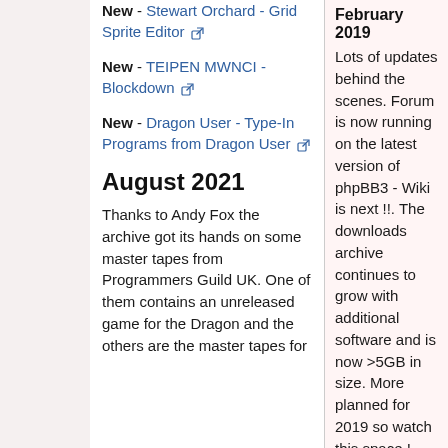New - Stewart Orchard - Grid Sprite Editor
New - TEIPEN MWNCI - Blockdown
New - Dragon User - Type-In Programs from Dragon User
August 2021
Thanks to Andy Fox the archive got its hands on some master tapes from Programmers Guild UK. One of them contains an unreleased game for the Dragon and the others are the master tapes for
February 2019
Lots of updates behind the scenes. Forum is now running on the latest version of phpBB3 - Wiki is next !!. The downloads archive continues to grow with additional software and is now >5GB in size. More planned for 2019 so watch this space !
February 2018
Massive archive update just uploaded - including 400Mb